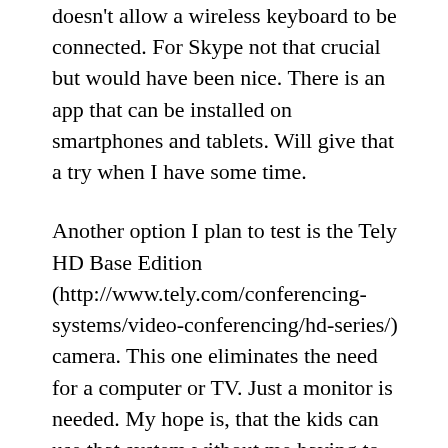doesn't allow a wireless keyboard to be connected. For Skype not that crucial but would have been nice. There is an app that can be installed on smartphones and tablets. Will give that a try when I have some time.
Another option I plan to test is the Tely HD Base Edition (http://www.tely.com/conferencing-systems/video-conferencing/hd-series/) camera. This one eliminates the need for a computer or TV. Just a monitor is needed. My hope is, that the kids can use that system without me having to intervene too much. Currently on order and to be shipped to my friend in the US. Once I have it, I will report on